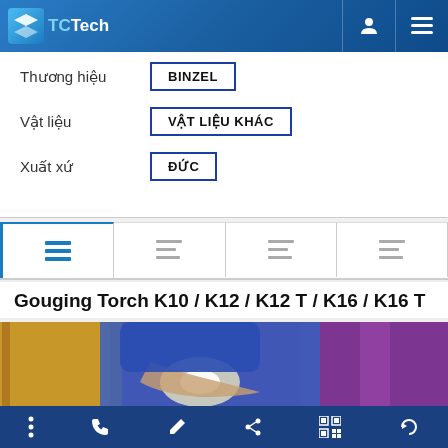TCTech navigation header with logo and menu icons
| Field | Value |
| --- | --- |
| Thương hiệu | BINZEL |
| Vật liệu | VẬT LIỆU KHÁC |
| Xuất xứ | ĐỨC |
[Figure (screenshot): Tab navigation row with 4 tab icons, first tab selected with blue border]
Gouging Torch K10 / K12 / K12 T / K16 / K16 T
[Figure (photo): Worker in blue protective suit using gouging torch on metal workpiece with purple/orange background]
Bottom navigation bar with icons: menu, phone, edit, share, QR code, refresh